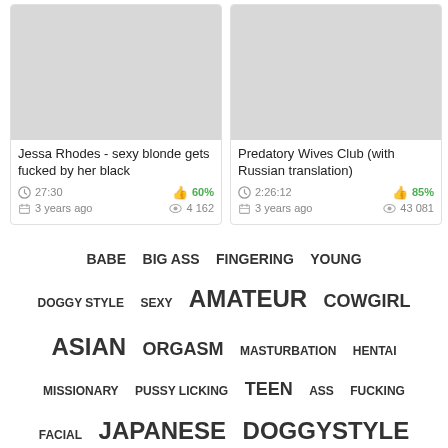[Figure (screenshot): Video thumbnail placeholder - gray rectangle for left card]
Jessa Rhodes - sexy blonde gets fucked by her black
27:30   60%   3 years ago   4 162
[Figure (screenshot): Video thumbnail placeholder - gray rectangle for right card]
Predatory Wives Club (with Russian translation)
2:26:12   85%   3 years ago   43 081
BABE  BIG ASS  FINGERING  YOUNG
DOGGY STYLE  SEXY  AMATEUR  COWGIRL
ASIAN  ORGASM  MASTURBATION  HENTAI
MISSIONARY  PUSSY LICKING  TEEN  ASS  FUCKING
FACIAL  JAPANESE  DOGGYSTYLE  TITS
PUSSY  PETITE  SEX  THREESOME  HANDJOB